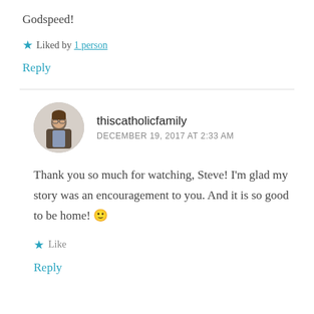Godspeed!
★ Liked by 1 person
Reply
thiscatholicfamily
DECEMBER 19, 2017 AT 2:33 AM
Thank you so much for watching, Steve! I'm glad my story was an encouragement to you. And it is so good to be home! 🙂
★ Like
Reply